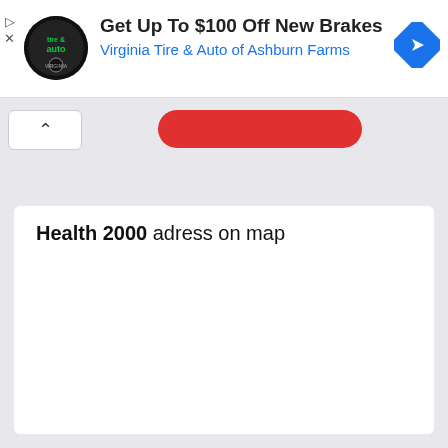[Figure (screenshot): Advertisement banner with Virginia Tire & Auto logo, headline 'Get Up To $100 Off New Brakes', subline 'Virginia Tire & Auto of Ashburn Farms', and a blue navigation arrow icon on the right.]
[Figure (screenshot): Collapsed UI panel with an up-arrow chevron button on the left and a red pill/button shape in the center.]
Health 2000 adress on map